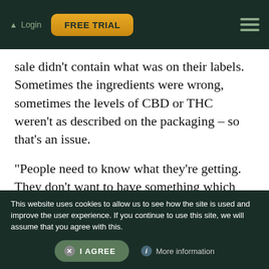Login | FREE TRIAL
sale didn't contain what was on their labels. Sometimes the ingredients were wrong, sometimes the levels of CBD or THC weren't as described on the packaging – so that's an issue.
“People need to know what they're getting. They don't want to have something which has been contaminated with pesticides or so on.” The study shows similar results to one
This website uses cookies to allow us to see how the site is used and improve the user experience. If you continue to use this site, we will assume that you agree with this.